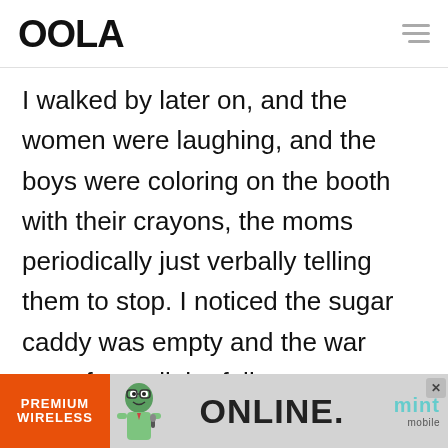OOLA
I walked by later on, and the women were laughing, and the boys were coloring on the booth with their crayons, the moms periodically just verbally telling them to stop. I noticed the sugar caddy was empty and the war zone from all the fallen
[Figure (infographic): Advertisement banner for Mint Mobile Premium Wireless ONLINE service, showing orange section with 'PREMIUM WIRELESS', a cartoon character, 'ONLINE.' text, and 'mint mobile' logo]